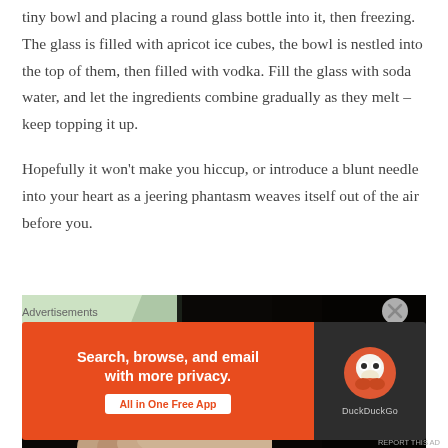tiny bowl and placing a round glass bottle into it, then freezing. The glass is filled with apricot ice cubes, the bowl is nestled into the top of them, then filled with vodka. Fill the glass with soda water, and let the ingredients combine gradually as they melt – keep topping it up.
Hopefully it won't make you hiccup, or introduce a blunt needle into your heart as a jeering phantasm weaves itself out of the air before you.
[Figure (photo): Close-up photo of a round glass/bottle vessel with ice, light-colored plastic bag visible on the left, dark background on the right]
Advertisements
[Figure (other): DuckDuckGo advertisement banner: orange/red background on left with text 'Search, browse, and email with more privacy.' and 'All in One Free App' button; dark right panel with DuckDuckGo duck logo and 'DuckDuckGo' text]